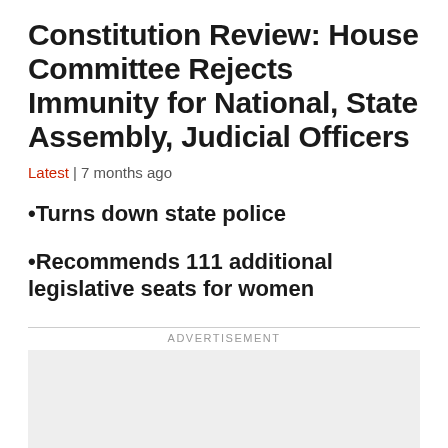Constitution Review: House Committee Rejects Immunity for National, State Assembly, Judicial Officers
Latest | 7 months ago
Turns down state police
Recommends 111 additional legislative seats for women
ADVERTISEMENT
[Figure (other): Advertisement placeholder box (grey rectangle)]